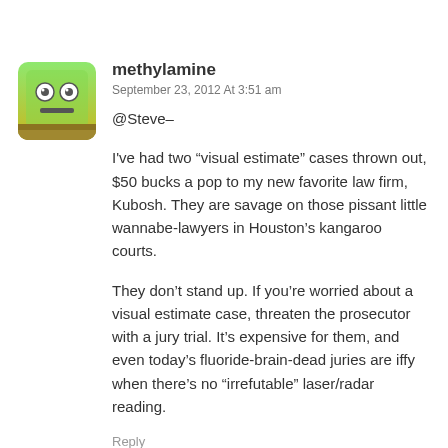[Figure (illustration): Square avatar icon with a green robot/emoji face on a green-to-yellow gradient background with rounded corners]
methylamine
September 23, 2012 At 3:51 am
@Steve–
I've had two “visual estimate” cases thrown out, $50 bucks a pop to my new favorite law firm, Kubosh. They are savage on those pissant little wannabe-lawyers in Houston’s kangaroo courts.
They don’t stand up. If you’re worried about a visual estimate case, threaten the prosecutor with a jury trial. It’s expensive for them, and even today’s fluoride-brain-dead juries are iffy when there’s no “irrefutable” laser/radar reading.
Reply